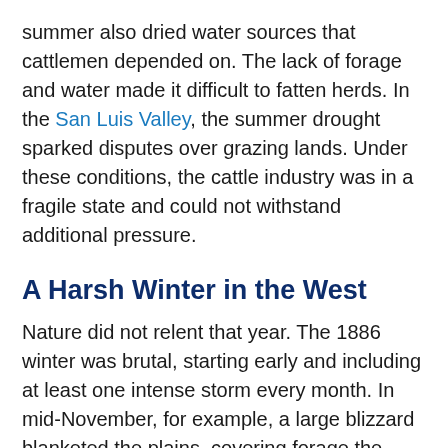summer also dried water sources that cattlemen depended on. The lack of forage and water made it difficult to fatten herds. In the San Luis Valley, the summer drought sparked disputes over grazing lands. Under these conditions, the cattle industry was in a fragile state and could not withstand additional pressure.
A Harsh Winter in the West
Nature did not relent that year. The 1886 winter was brutal, starting early and including at least one intense storm every month. In mid-November, for example, a large blizzard blanketed the plains, covering forage the cattle needed to graze and leading to their starvation. With bitter cold and